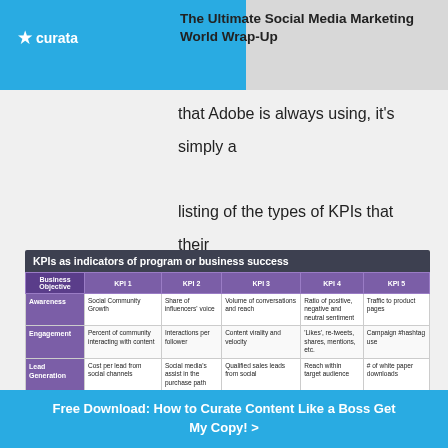The Ultimate Social Media Marketing World Wrap-Up
that Adobe is always using, it's simply a listing of the types of KPIs that their various teams could use based on various business objectives:
| Business Objective | KPI 1 | KPI 2 | KPI 3 | KPI 4 | KPI 5 |
| --- | --- | --- | --- | --- | --- |
| Awareness | Social Community Growth | Share of influencers' voice | Volume of conversations and reach | Ratio of positive, negative and neutral sentiment | Traffic to product pages |
| Engagement | Percent of community interacting with content | Interactions per follower | Content virality and velocity | 'Likes', re-tweets, shares, mentions, etc. | Campaign #hashtag use |
| Lead Generation | Cost per lead from social channels | Social media's assist in the purchase path | Qualified sales leads from social | Reach within target audience | # of white paper downloads |
| Demand Gen/ Conversion | Direct attribution – revenue and trial downloads through tracked links | Cost per acquisition | Conversion rates and average order value from social channels | Revenue attribution for key influencers | On-site product reviews influence on conversion rates |
Free Download: How to Curate Content Like a Boss Get My Copy! >